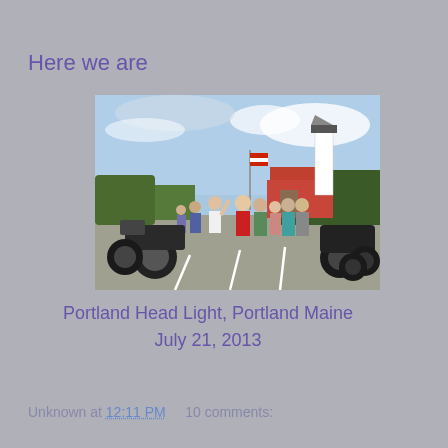Here we are
[Figure (photo): Group of people posing with motorcycles in a parking lot at Portland Head Light, a lighthouse visible in the background with a red-roofed building and trees.]
Portland Head Light,  Portland Maine
July 21,  2013
Unknown at 12:11 PM     10 comments: